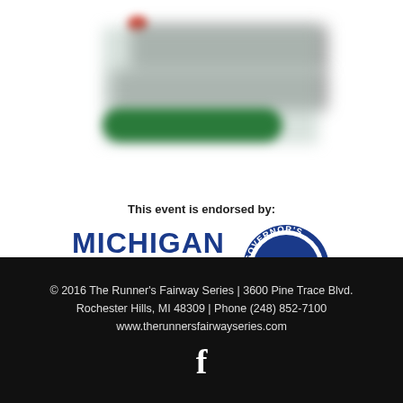[Figure (logo): Blurred/redacted event logo at the top of the page]
This event is endorsed by:
[Figure (logo): Michigan Fitness Foundation logo with blue bold text and blue foundation banner, alongside a circular Governor's Council seal with Michigan state outline]
© 2016 The Runner's Fairway Series | 3600 Pine Trace Blvd. Rochester Hills, MI 48309 | Phone (248) 852-7100 www.therunnersfairwayseries.com